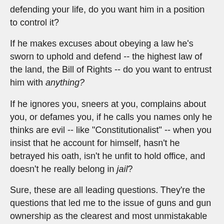defending your life, do you want him in a position to control it?
If he makes excuses about obeying a law he's sworn to uphold and defend -- the highest law of the land, the Bill of Rights -- do you want to entrust him with anything?
If he ignores you, sneers at you, complains about you, or defames you, if he calls you names only he thinks are evil -- like "Constitutionalist" -- when you insist that he account for himself, hasn't he betrayed his oath, isn't he unfit to hold office, and doesn't he really belong in jail?
Sure, these are all leading questions. They're the questions that led me to the issue of guns and gun ownership as the clearest and most unmistakable demonstration of what any given politician -- or political philosophy -- is really made of.
He may lecture you about the dangerous weirdo